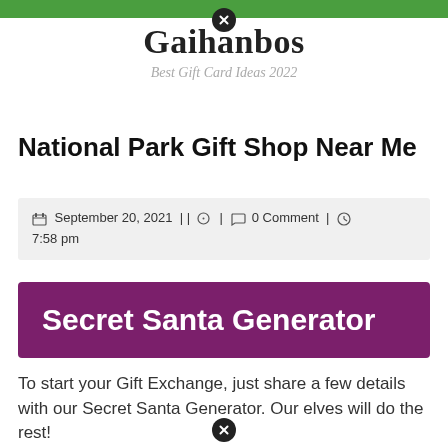Gaihanbos — Best Gift Card Ideas 2022
National Park Gift Shop Near Me
September 20, 2021 || [author icon] | [comment icon] 0 Comment | [clock icon] 7:58 pm
Secret Santa Generator
To start your Gift Exchange, just share a few details with our Secret Santa Generator. Our elves will do the rest!